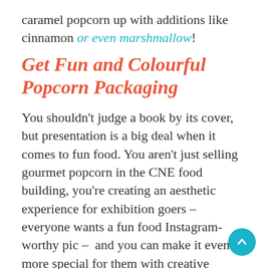caramel popcorn up with additions like cinnamon or even marshmallow!
Get Fun and Colourful Popcorn Packaging
You shouldn't judge a book by its cover, but presentation is a big deal when it comes to fun food. You aren't just selling gourmet popcorn in the CNE food building, you're creating an aesthetic experience for exhibition goers – everyone wants a fun food Instagram-worthy pic –  and you can make it even more special for them with creative popcorn packaging.